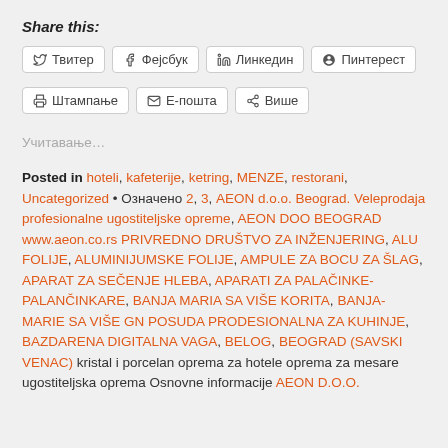Share this:
Твитер  Фејсбук  Линкедин  Пинтерест  Штампање  Е-пошта  Више
Учитавање...
Posted in hoteli, kafeterije, ketring, MENZE, restorani, Uncategorized • Означено 2, 3, AEON d.o.o. Beograd. Veleprodaja profesionalne ugostiteljske opreme, AEON DOO BEOGRAD www.aeon.co.rs PRIVREDNO DRUŠTVO ZA INŽENJERING, ALU FOLIJE, ALUMINIJUMSKE FOLIJE, AMPULE ZA BOCU ZA ŠLAG, APARAT ZA SEČENJE HLEBA, APARATI ZA PALAČINKE-PALANČINKARE, BANJA MARIA SA VIŠE KORITA, BANJA-MARIE SA VIŠE GN POSUDA PRODESIONALNA ZA KUHINJE, BAZDARENA DIGITALNA VAGA, BELOG, BEOGRAD (SAVSKI VENAC) kristal i porcelan oprema za hotele oprema za mesare ugostiteljska oprema Osnovne informacije AEON D.O.O.